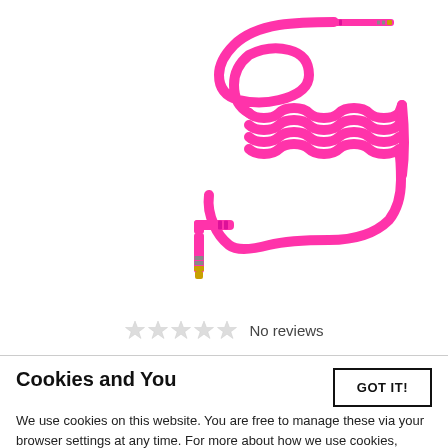[Figure (photo): A coiled hot pink 3.5mm audio cable with a straight connector at one end and a right-angle connector at the other end, both with gold tips. The cable is coiled in a spring-like fashion with a loop at one end.]
★★★★★ No reviews
Cookies and You
GOT IT!
We use cookies on this website. You are free to manage these via your browser settings at any time. For more about how we use cookies, please see our Cookie Policy.